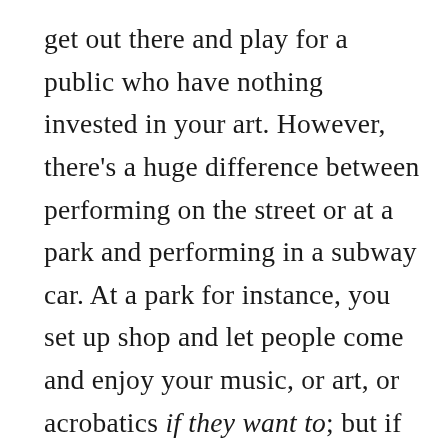get out there and play for a public who have nothing invested in your art. However, there's a huge difference between performing on the street or at a park and performing in a subway car. At a park for instance, you set up shop and let people come and enjoy your music, or art, or acrobatics if they want to; but if you're in a subway car with your guitar and start ripping-roaring through your best version of the song Summer of '69, well now all of a sudden you're infringing on my right to life, liberty, and the pursuit of happiness, because I really hate that song and I'm stuck on this subway for like at least another four stops... man I wish this